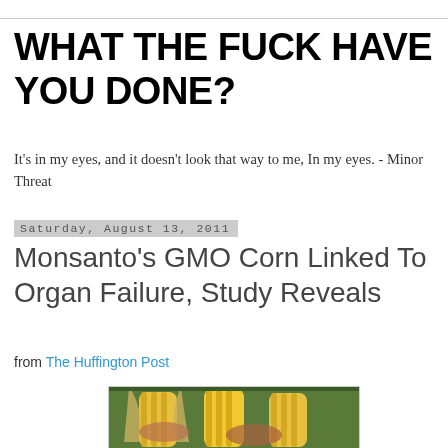WHAT THE FUCK HAVE YOU DONE?
It's in my eyes, and it doesn't look that way to me, In my eyes. - Minor Threat
Saturday, August 13, 2011
Monsanto's GMO Corn Linked To Organ Failure, Study Reveals
from The Huffington Post
[Figure (photo): Hands holding ears of yellow corn, partially husked, with a field in the background]